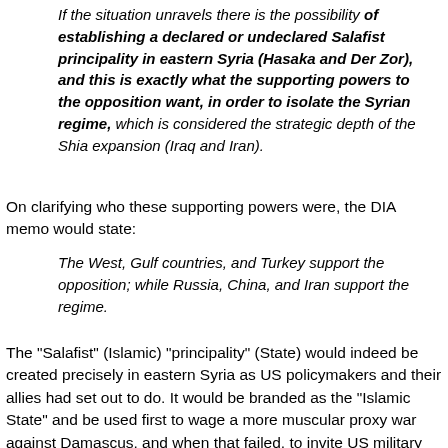If the situation unravels there is the possibility of establishing a declared or undeclared Salafist principality in eastern Syria (Hasaka and Der Zor), and this is exactly what the supporting powers to the opposition want, in order to isolate the Syrian regime, which is considered the strategic depth of the Shia expansion (Iraq and Iran).
On clarifying who these supporting powers were, the DIA memo would state:
The West, Gulf countries, and Turkey support the opposition; while Russia, China, and Iran support the regime.
The "Salafist" (Islamic) "principality" (State) would indeed be created precisely in eastern Syria as US policymakers and their allies had set out to do. It would be branded as the "Islamic State" and be used first to wage a more muscular proxy war against Damascus, and when that failed, to invite US military forces to intervene in the conflict directly.